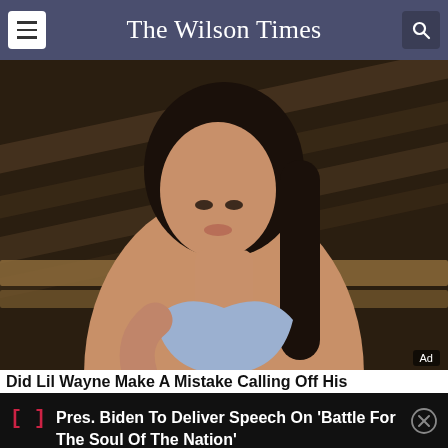The Wilson Times
[Figure (photo): Woman in blue bikini top posed against wooden structure background, with 'Ad' badge in bottom right corner]
Did Lil Wayne Make A Mistake Calling Off His
Pres. Biden To Deliver Speech On 'Battle For The Soul Of The Nation'
[Figure (photo): Person lying in grass wearing plaid jacket, Light/Dark theme toggle overlay visible]